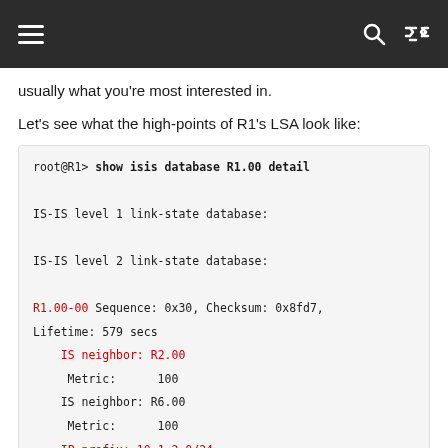Navigation header with hamburger menu, search icon, shuffle icon
usually what you're most interested in.
Let's see what the high-points of R1's LSA look like:
[Figure (screenshot): Terminal/code box showing IS-IS database output. Command: root@R1> show isis database R1.00 detail. Output includes IS-IS level 1 and level 2 link-state database headers, R1.00-00 entry with Sequence: 0x30, Checksum: 0x8fd7, Lifetime: 579 secs, IS neighbor: R2.00 Metric: 100, IS neighbor: R6.00 Metric: 100, IP prefix: 10.1.2.0/24 Metric: 100 Internal Up, IP prefix: 10.1.6.0/24, Metric: 100 Internal Up (partially visible)]